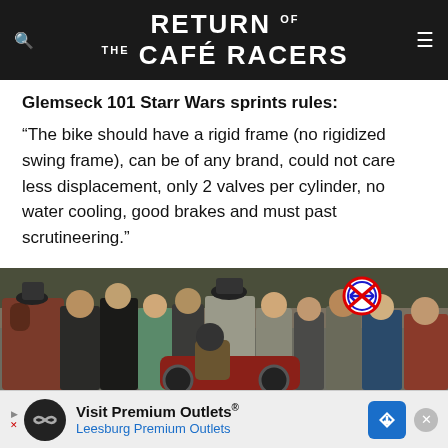RETURN OF THE CAFÉ RACERS
Glemseck 101 Starr Wars sprints rules:
“The bike should have a rigid frame (no rigidized swing frame), can be of any brand, could not care less displacement, only 2 valves per cylinder, no water cooling, good brakes and must past scrutineering.”
[Figure (photo): Crowd of spectators at the Glemseck 101 sprint event, with motorcycles and a no-stopping road sign visible in the background.]
Visit Premium Outlets® Leesburg Premium Outlets